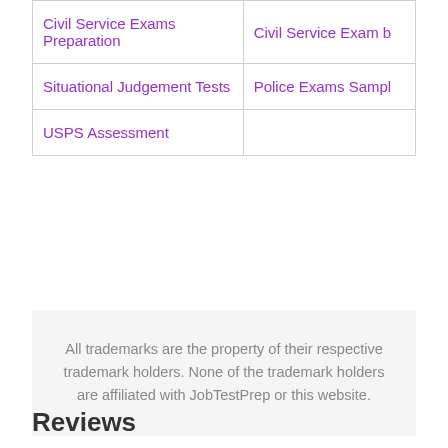| Civil Service Exams Preparation | Civil Service Exam b |
| Situational Judgement Tests | Police Exams Sampl |
| USPS Assessment |  |
All trademarks are the property of their respective trademark holders. None of the trademark holders are affiliated with JobTestPrep or this website.
Reviews